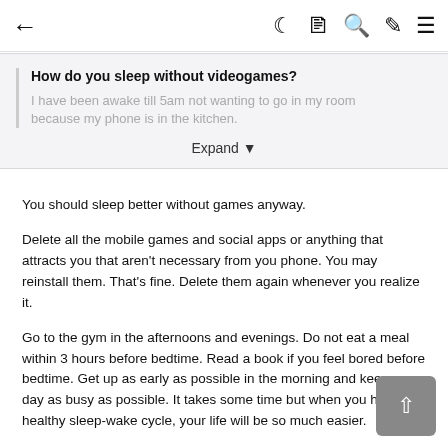← (back) ☾ ▦ 🔍 ✏ ≡
How do you sleep without videogames?
I have been awake till 5am not wanting to go in my room because my phone is in the kitchen.
Expand ▼
You should sleep better without games anyway.
Delete all the mobile games and social apps or anything that attracts you that aren't necessary from you phone. You may reinstall them. That's fine. Delete them again whenever you realize it.
Go to the gym in the afternoons and evenings. Do not eat a meal within 3 hours before bedtime. Read a book if you feel bored before bedtime. Get up as early as possible in the morning and keep your day as busy as possible. It takes some time but when you have a healthy sleep-wake cycle, your life will be so much easier.